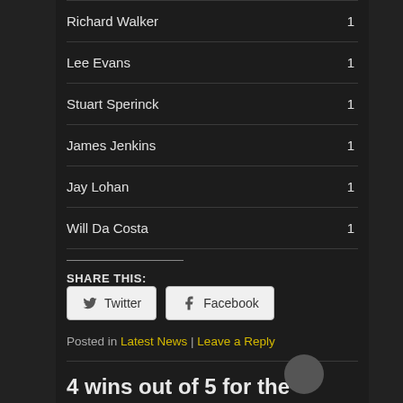| Name | Score |
| --- | --- |
| Richard Walker | 1 |
| Lee Evans | 1 |
| Stuart Sperinck | 1 |
| James Jenkins | 1 |
| Jay Lohan | 1 |
| Will Da Costa | 1 |
SHARE THIS:
Twitter  Facebook
Posted in Latest News | Leave a Reply
4 wins out of 5 for the Internet 'Orns